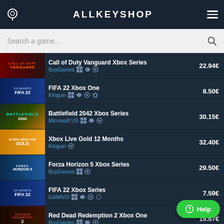ALLKEYSHOP
Search a game...
Call of Duty Vanguard Xbox Series | BuyGames | 22.94€
FIFA 22 Xbox One | Kinguin | 8.50€
Battlefield 2042 Xbox Series | Microsoft US | 30.15€
Xbox Live Gold 12 Months | Kinguin | 32.40€
Forza Horizon 5 Xbox Series | BuyGames | 29.50€
FIFA 22 Xbox Series | GAMIVO | 7.59€
Red Dead Redemption 2 Xbox One | BuyGames | 19.67€
Sekiro Shadows Die Twice Xbox... | BuyGames | ...€